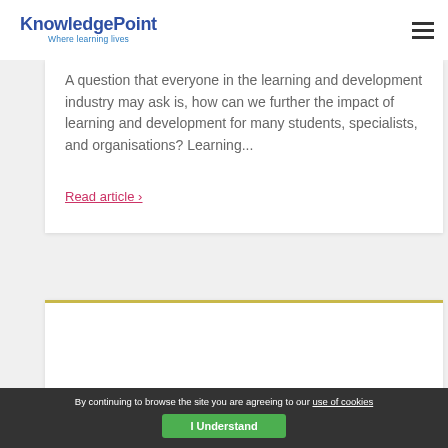KnowledgePoint — Where learning lives
A question that everyone in the learning and development industry may ask is, how can we further the impact of learning and development for many students, specialists, and organisations? Learning...
Read article ›
By continuing to browse the site you are agreeing to our use of cookies
I Understand